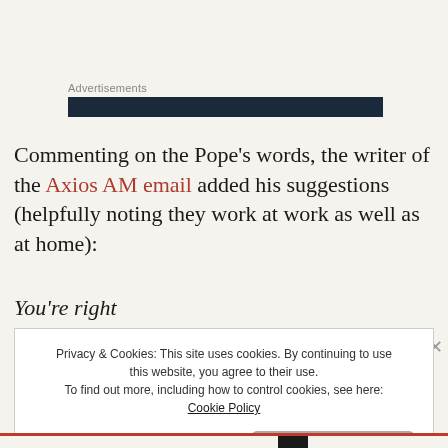Advertisements
Commenting on the Pope’s words, the writer of the Axios AM email added his suggestions (helpfully noting they work at work as well as at home):
You’re right
Privacy & Cookies: This site uses cookies. By continuing to use this website, you agree to their use.
To find out more, including how to control cookies, see here: Cookie Policy
Close and accept